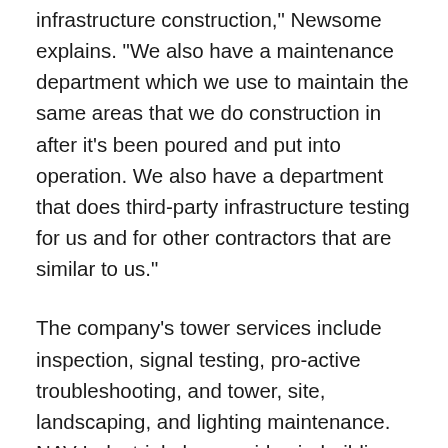infrastructure construction," Newsome explains. "We also have a maintenance department which we use to maintain the same areas that we do construction in after it's been poured and put into operation. We also have a department that does third-party infrastructure testing for us and for other contractors that are similar to us."
The company's tower services include inspection, signal testing, pro-active troubleshooting, and tower, site, landscaping, and lighting maintenance. NAV Industrial also provides in-building cellular network services, because there are many physical objects – such